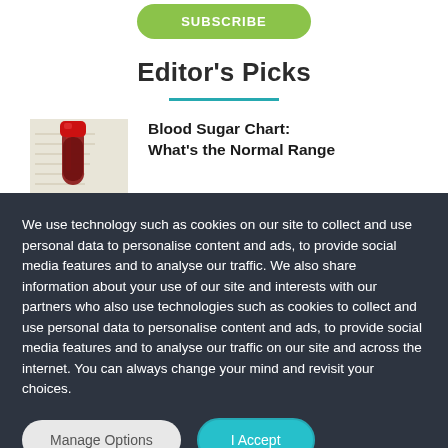Editor's Picks
[Figure (photo): Blood vial/test tube with red cap containing blood sample, placed on medical chart paper]
Blood Sugar Chart: What's the Normal Range
We use technology such as cookies on our site to collect and use personal data to personalise content and ads, to provide social media features and to analyse our traffic. We also share information about your use of our site and interests with our partners who also use technologies such as cookies to collect and use personal data to personalise content and ads, to provide social media features and to analyse our traffic on our site and across the internet. You can always change your mind and revisit your choices.
Manage Options
I Accept